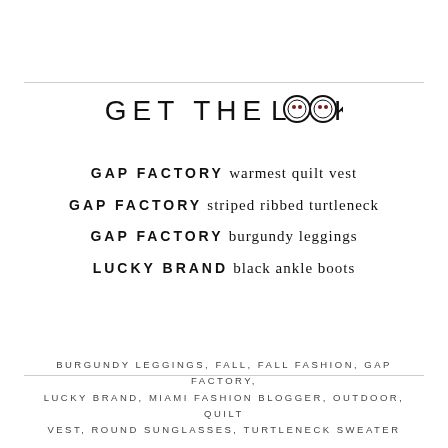GET THE LOOK
GAP FACTORY warmest quilt vest
GAP FACTORY striped ribbed turtleneck
GAP FACTORY burgundy leggings
LUCKY BRAND black ankle boots
BURGUNDY LEGGINGS, FALL, FALL FASHION, GAP FACTORY, LUCKY BRAND, MIAMI FASHION BLOGGER, OUTDOOR, QUILT VEST, ROUND SUNGLASSES, TURTLENECK SWEATER